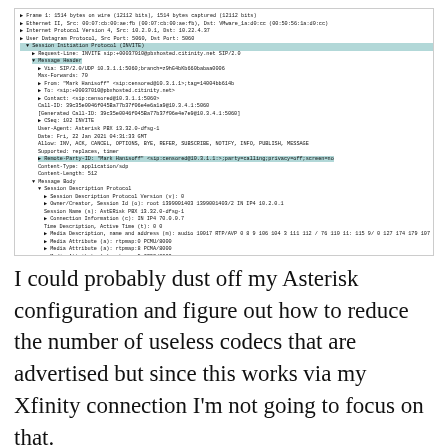[Figure (screenshot): Wireshark/packet capture screenshot showing SIP (Session Initiation Protocol) packet details including frame info, ethernet, internet protocol, UDP, SIP INVITE with message headers and message body containing Session Description Protocol (SDP) fields with multiple media attributes for various codecs. A blue highlighted row shows 'Media Attribute (a): rtpmap:101 L16/16000'.]
I could probably dust off my Asterisk configuration and figure out how to reduce the number of useless codecs that are advertised but since this works via my Xfinity connection I'm not going to focus on that.